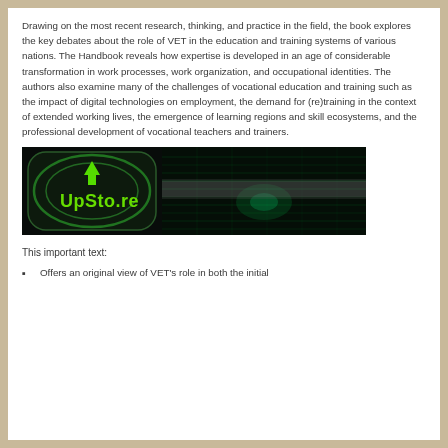Drawing on the most recent research, thinking, and practice in the field, the book explores the key debates about the role of VET in the education and training systems of various nations. The Handbook reveals how expertise is developed in an age of considerable transformation in work processes, work organization, and occupational identities. The authors also examine many of the challenges of vocational education and training such as the impact of digital technologies on employment, the demand for (re)training in the context of extended working lives, the emergence of learning regions and skill ecosystems, and the professional development of vocational teachers and trainers.
[Figure (logo): UpSto.re logo with green arrow and text on dark server background]
This important text:
Offers an original view of VET's role in both the initial